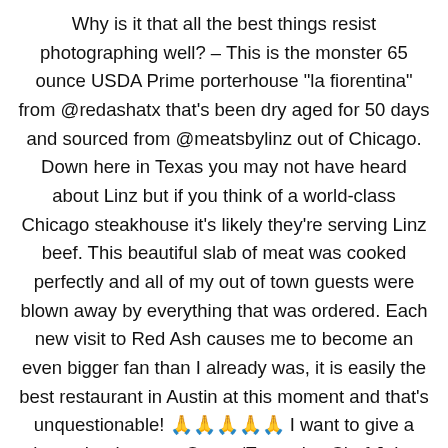Why is it that all the best things resist photographing well? – This is the monster 65 ounce USDA Prime porterhouse "la fiorentina" from @redashatx that's been dry aged for 50 days and sourced from @meatsbylinz out of Chicago. Down here in Texas you may not have heard about Linz but if you think of a world-class Chicago steakhouse it's likely they're serving Linz beef. This beautiful slab of meat was cooked perfectly and all of my out of town guests were blown away by everything that was ordered. Each new visit to Red Ash causes me to become an even bigger fan than I already was, it is easily the best restaurant in Austin at this moment and that's unquestionable! 🙏🙏🙏🙏🙏 I want to give a huge thank you to Owner/Executive Chef John Carver for getting my group and I in to the restaurant on